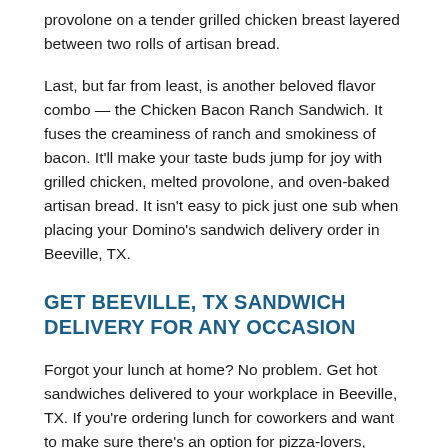provolone on a tender grilled chicken breast layered between two rolls of artisan bread.
Last, but far from least, is another beloved flavor combo — the Chicken Bacon Ranch Sandwich. It fuses the creaminess of ranch and smokiness of bacon. It'll make your taste buds jump for joy with grilled chicken, melted provolone, and oven-baked artisan bread. It isn't easy to pick just one sub when placing your Domino's sandwich delivery order in Beeville, TX.
GET BEEVILLE, TX SANDWICH DELIVERY FOR ANY OCCASION
Forgot your lunch at home? No problem. Get hot sandwiches delivered to your workplace in Beeville, TX. If you're ordering lunch for coworkers and want to make sure there's an option for pizza-lovers, sandwich enthusiasts, and veggie-buffs, ordering a mix of pizza, pasta, and sandwiches might turn you into the boss's favorite.
Whether you're entertaining a crowd at home or just trying to get an affordable, easy dinner without packing the family in the car — your go-to sandwich shop in Beeville, TX has you covered with